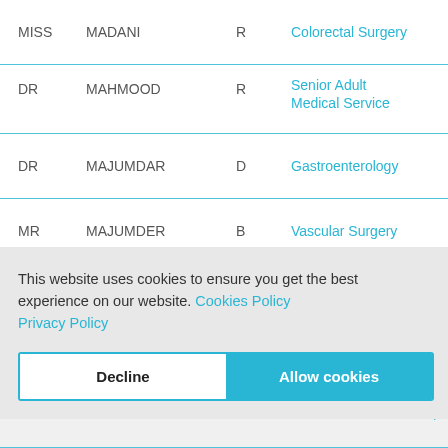| Title | Name | Initial | Specialty |
| --- | --- | --- | --- |
| MISS | MADANI | R | Colorectal Surgery |
| DR | MAHMOOD | R | Senior Adult Medical Service |
| DR | MAJUMDAR | D | Gastroenterology |
| MR | MAJUMDER | B | Vascular Surgery |
This website uses cookies to ensure you get the best experience on our website. Cookies Policy Privacy Policy